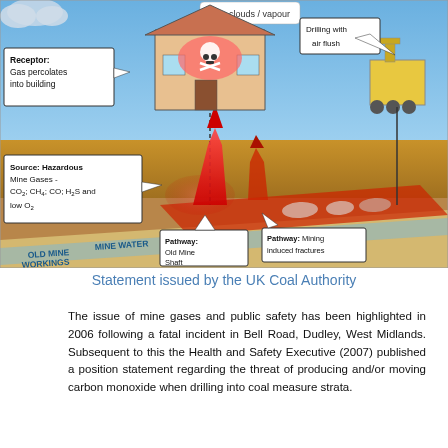[Figure (schematic): Engineering diagram showing mine gas hazard pathways: above-ground shows a house with skull-and-crossbones danger symbol and a drilling rig with air flush label. Below-ground shows old mine workings with mine water, hazardous gases (CO2, CH4, CO, H2S and low O2), pathways via old mine shaft and mining induced fractures, and receptor showing gas percolating into building.]
Statement issued by the UK Coal Authority
The issue of mine gases and public safety has been highlighted in 2006 following a fatal incident in Bell Road, Dudley, West Midlands. Subsequent to this the Health and Safety Executive (2007) published a position statement regarding the threat of producing and/or moving carbon monoxide when drilling into coal measure strata.